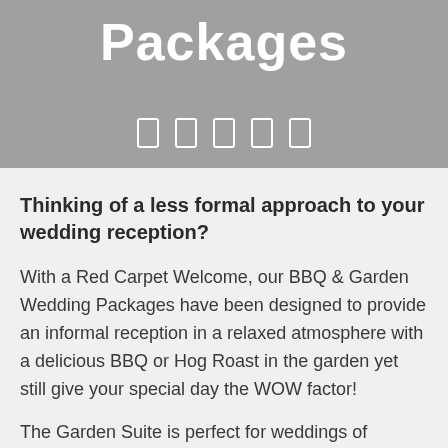Packages
[Figure (other): Row of five small rectangular icons in white outline on grey banner background]
Thinking of a less formal approach to your wedding reception?
With a Red Carpet Welcome, our BBQ & Garden Wedding Packages have been designed to provide an informal reception in a relaxed atmosphere with a delicious BBQ or Hog Roast in the garden yet still give your special day the WOW factor!
The Garden Suite is perfect for weddings of between 50 & 200 guests and benefits from